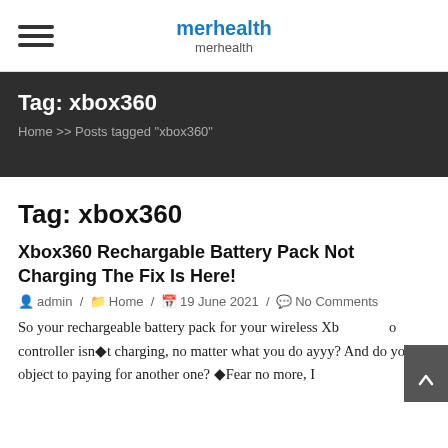merhealth
merhealth
Tag: xbox360
Home >> Posts tagged "xbox360"
Tag: xbox360
Xbox360 Rechargable Battery Pack Not Charging The Fix Is Here!
admin / Home / 19 June 2021 / No Comments
So your rechargeable battery pack for your wireless Xbox360 controller isn●t charging, no matter what you do ayyy? And do you object to paying for another one? ●Fear no more, I